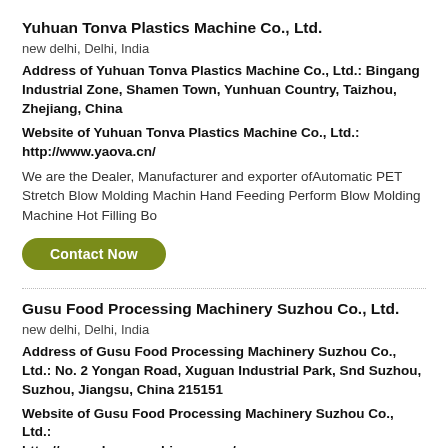Yuhuan Tonva Plastics Machine Co., Ltd.
new delhi, Delhi, India
Address of Yuhuan Tonva Plastics Machine Co., Ltd.: Bingang Industrial Zone, Shamen Town, Yunhuan Country, Taizhou, Zhejiang, China
Website of Yuhuan Tonva Plastics Machine Co., Ltd.: http://www.yaova.cn/
We are the Dealer, Manufacturer and exporter ofAutomatic PET Stretch Blow Molding Machin Hand Feeding Perform Blow Molding Machine Hot Filling Bo
Contact Now
Gusu Food Processing Machinery Suzhou Co., Ltd.
new delhi, Delhi, India
Address of Gusu Food Processing Machinery Suzhou Co., Ltd.: No. 2 Yongan Road, Xuguan Industrial Park, Snd Suzhou, Suzhou, Jiangsu, China 215151
Website of Gusu Food Processing Machinery Suzhou Co., Ltd.: http://www.chocomachinery.com/